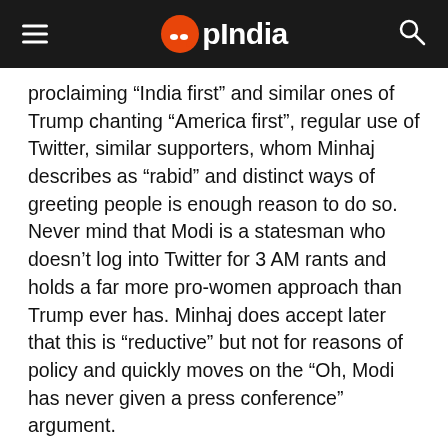OpIndia
proclaiming “India first” and similar ones of Trump chanting “America first”, regular use of Twitter, similar supporters, whom Minhaj describes as “rabid” and distinct ways of greeting people is enough reason to do so. Never mind that Modi is a statesman who doesn’t log into Twitter for 3 AM rants and holds a far more pro-women approach than Trump ever has. Minhaj does accept later that this is “reductive” but not for reasons of policy and quickly moves on the “Oh, Modi has never given a press conference” argument.
As expected, the Gujarat riots enter the picture. Minhaj rather conveniently forgets to mention the burning of the Sabarmati Express and sticks to simply